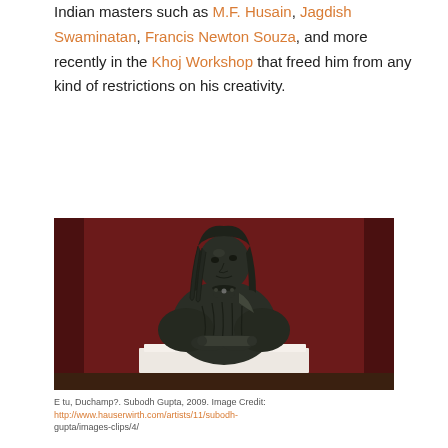Indian masters such as M.F. Husain, Jagdish Swaminatan, Francis Newton Souza, and more recently in the Khoj Workshop that freed him from any kind of restrictions on his creativity.
[Figure (photo): A dark bronze bust sculpture of a female figure with head covering and braided hair, holding a scroll, seated on a white pedestal against a deep red wall background. The sculpture is 'E tu, Duchamp?' by Subodh Gupta, 2009.]
E tu, Duchamp?. Subodh Gupta, 2009. Image Credit: http://www.hauserwirth.com/artists/11/subodh-gupta/images-clips/4/